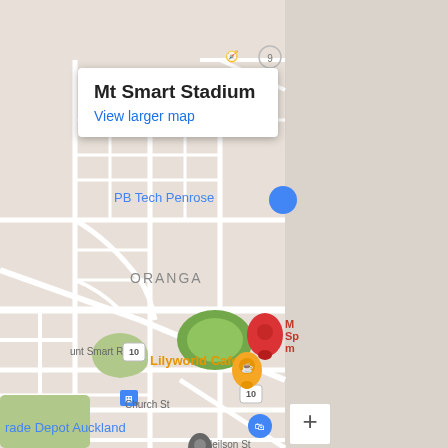[Figure (map): Google Maps screenshot showing Mt Smart Stadium area in Auckland, New Zealand. The map shows the Oranga neighborhood with streets including Mt Smart Rd, Church St, Neilson St. Points of interest include PB Tech Penrose, Lilyworld Cafe (orange pin), Mt Smart Stadium (red pin with green area), Trade Depot Auckland, and Iste Pikes Station. Route 10 markers are visible. The right third of the image is a gray panel with a zoom-in (+) button in the bottom right corner.]
Mt Smart Stadium
View larger map